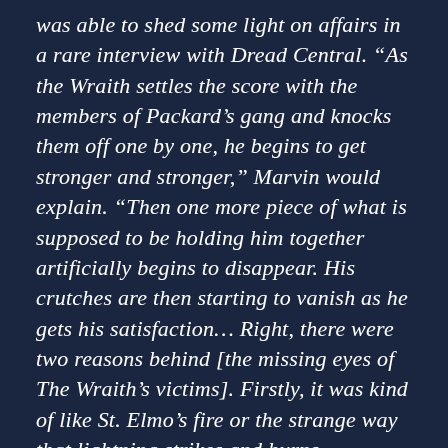was able to shed some light on affairs in a rare interview with Dread Central. “As the Wraith settles the score with the members of Packard’s gang and knocks them off one by one, he begins to get stronger and stronger,” Marvin would explain. “Then one more piece of what is supposed to be holding him together artificially begins to disappear. His crutches are then starting to vanish as he gets his satisfaction… Right, there were two reasons behind [the missing eyes of The Wraith’s victims]. Firstly, it was kind of like St. Elmo’s fire or the strange way that lightning strikes and burns everything around it, sometimes the most obvious thing